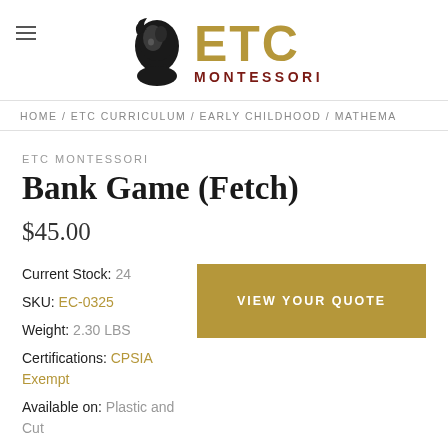ETC MONTESSORI
HOME / ETC CURRICULUM / EARLY CHILDHOOD / MATHEMA...
ETC MONTESSORI
Bank Game (Fetch)
$45.00
Current Stock: 24
SKU: EC-0325
Weight: 2.30 LBS
Certifications: CPSIA Exempt
Available on: Plastic and Cut